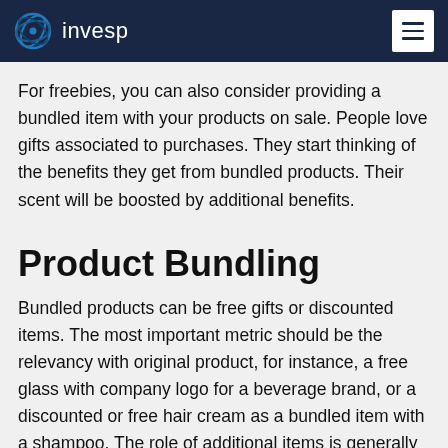invesp
For freebies, you can also consider providing a bundled item with your products on sale. People love gifts associated to purchases. They start thinking of the benefits they get from bundled products. Their scent will be boosted by additional benefits.
Product Bundling
Bundled products can be free gifts or discounted items. The most important metric should be the relevancy with original product, for instance, a free glass with company logo for a beverage brand, or a discounted or free hair cream as a bundled item with a shampoo. The role of additional items is generally